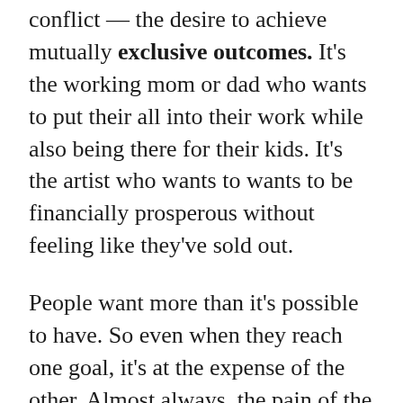conflict — the desire to achieve mutually exclusive outcomes. It's the working mom or dad who wants to put their all into their work while also being there for their kids. It's the artist who wants to wants to be financially prosperous without feeling like they've sold out.
People want more than it's possible to have. So even when they reach one goal, it's at the expense of the other. Almost always, the pain of the failed goal outweighs the pleasure from what's been achieved.